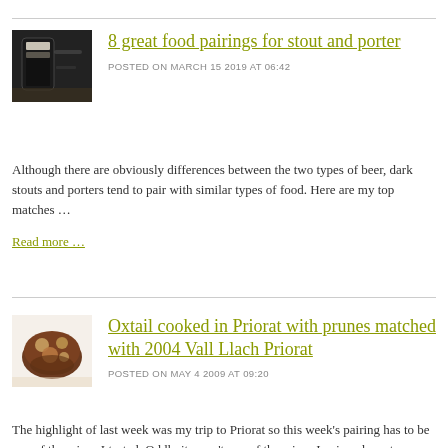[Figure (photo): Dark beer glass on a wooden surface thumbnail image]
8 great food pairings for stout and porter
POSTED ON MARCH 15 2019 AT 06:42
Although there are obviously differences between the two types of beer, dark stouts and porters tend to pair with similar types of food. Here are my top matches …
Read more …
[Figure (photo): Oxtail cooked dish thumbnail image]
Oxtail cooked in Priorat with prunes matched with 2004 Vall Llach Priorat
POSTED ON MAY 4 2009 AT 09:20
The highlight of last week was my trip to Priorat so this week's pairing has to be one of the wines I tasted. Oddly it wasn't one of the wines I enjoyed most although it was in the upper echelons of what the region has to offer : a